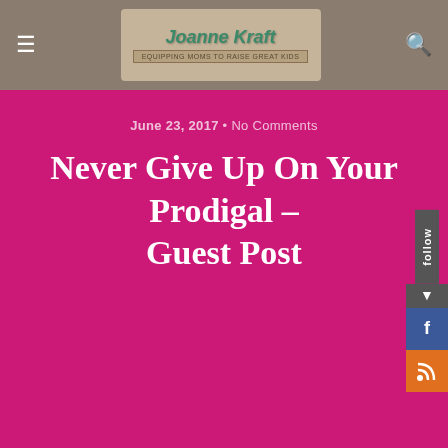Joanne Kraft — Equipping Moms to Raise Great Kids
June 23, 2017 • No Comments
Never Give Up On Your Prodigal – Guest Post
Share  Tweet  Save  Mail  SMS
No mom raises a child and thinks for one hot minute that their kid might go rogue. Us moms just don't think like that.  At least, not until reality hits us smack in the face.